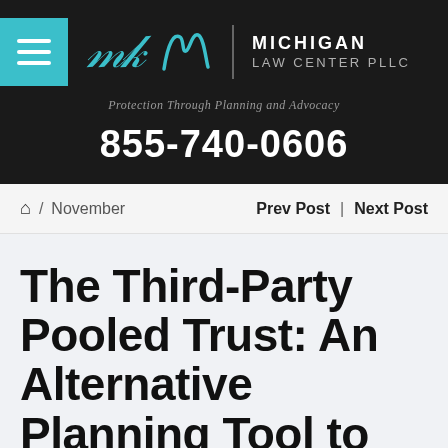[Figure (logo): Michigan Law Center PLLC logo with teal menu icon, cursive M monogram, vertical divider, and firm name in white text on dark background]
Protection Through Planning and Advocacy
855-740-0606
🏠 / November    Prev Post | Next Post
The Third-Party Pooled Trust: An Alternative Planning Tool to Help